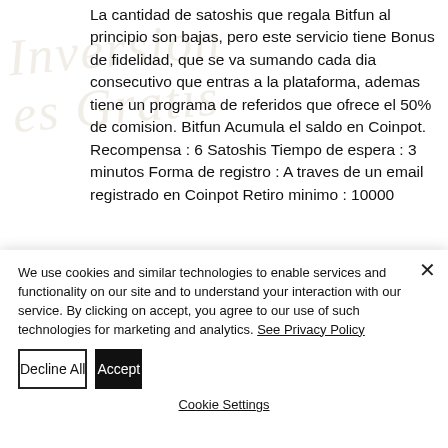La cantidad de satoshis que regala Bitfun al principio son bajas, pero este servicio tiene Bonus de fidelidad, que se va sumando cada dia consecutivo que entras a la plataforma, ademas tiene un programa de referidos que ofrece el 50% de comision. Bitfun Acumula el saldo en Coinpot. Recompensa : 6 Satoshis Tiempo de espera : 3 minutos Forma de registro : A traves de un email registrado en Coinpot Retiro minimo : 10000
We use cookies and similar technologies to enable services and functionality on our site and to understand your interaction with our service. By clicking on accept, you agree to our use of such technologies for marketing and analytics. See Privacy Policy
Decline All
Accept
Cookie Settings